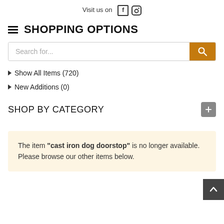Visit us on [facebook] [instagram]
SHOPPING OPTIONS
Search for...
Show All Items (720)
New Additions (0)
SHOP BY CATEGORY
The item "cast iron dog doorstop" is no longer available. Please browse our other items below.